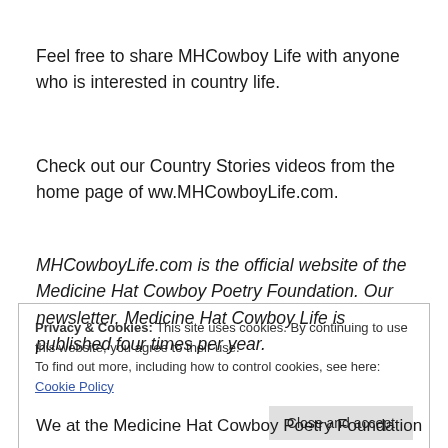Feel free to share MHCowboy Life with anyone who is interested in country life.
Check out our Country Stories videos from the home page of ww.MHCowboyLife.com.
MHCowboyLife.com is the official website of the Medicine Hat Cowboy Poetry Foundation. Our newsletter, Medicine Hat Cowboy Life is published four times per year.
Privacy & Cookies: This site uses cookies. By continuing to use this website, you agree to their use.
To find out more, including how to control cookies, see here: Cookie Policy
Close and accept
We at the Medicine Hat Cowboy Poetry Foundation